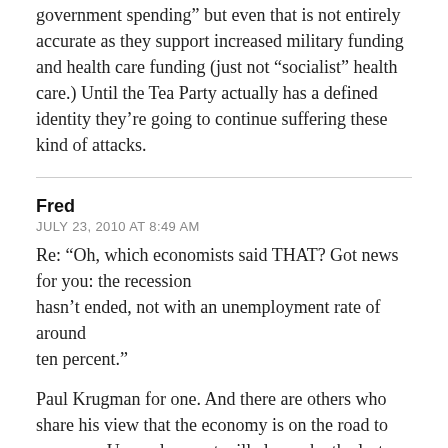government spending” but even that is not entirely accurate as they support increased military funding and health care funding (just not “socialist” health care.) Until the Tea Party actually has a defined identity they’re going to continue suffering these kind of attacks.
Fred
JULY 23, 2010 AT 8:49 AM
Re: “Oh, which economists said THAT? Got news for you: the recession hasn’t ended, not with an unemployment rate of around ten percent.”
Paul Krugman for one. And there are others who share his view that the economy is on the road to recovery. Unemployment will always be the last element of an economy to reflect a recovery. The very last thing businesses do when they have suffered through a